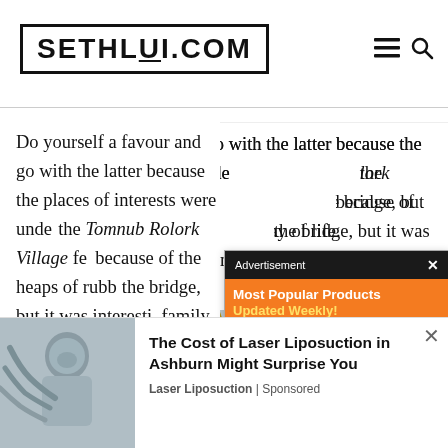SETHLUI.COM
Do yourself a favour and go with the latter because the places of interests were unde... the Tomnub Rolork Village fe... because of the heaps of rubb... the bridge, but it was interesti... family and their way of life.
[Figure (screenshot): Advertisement overlay showing 'Most Popular Products - Updated Weekly!' on orange background with product icons]
[Figure (photo): Photo of a golden spire/temple against a cloudy sky]
[Figure (screenshot): Bottom ad banner: 'The Cost of Laser Liposuction in Ashburn Might Surprise You' - Laser Liposuction | Sponsored, with a photo of a person receiving treatment]